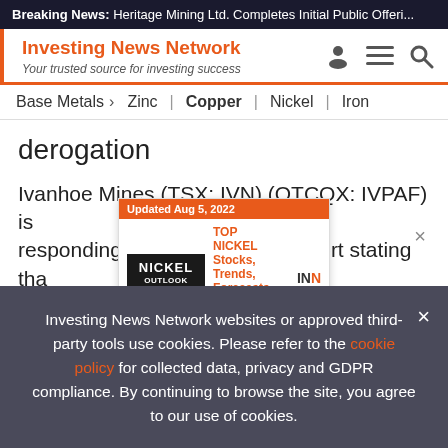Breaking News: Heritage Mining Ltd. Completes Initial Public Offeri...
Investing News Network
Your trusted source for investing success
Base Metals > Zinc | Copper | Nickel | Iron
derogation
Ivanhoe Mines (TSX: IVN) (OTCQX: IVPAF) is responding today to a media report stating tha... mine... (RC) rece... ...ined
[Figure (screenshot): Advertisement popup for Nickel Outlook 2022 report. Updated Aug 5, 2022. TOP NICKEL Stocks, Trends, Forecasts. 2022 Nickel Outlook Report. INN logo.]
Investing News Network websites or approved third-party tools use cookies. Please refer to the cookie policy for collected data, privacy and GDPR compliance. By continuing to browse the site, you agree to our use of cookies.